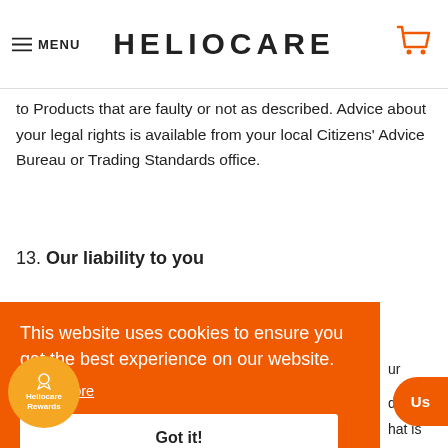MENU | HELIOCARE
to Products that are faulty or not as described. Advice about your legal rights is available from your local Citizens' Advice Bureau or Trading Standards office.
13. Our liability to you
[Figure (screenshot): Cookie consent banner with orange background, text 'This website uses cookies to ensure you get the best experience on our website.', a 'Learn More' link, and a 'Got it!' button.]
ur
duct,
hat is
s an